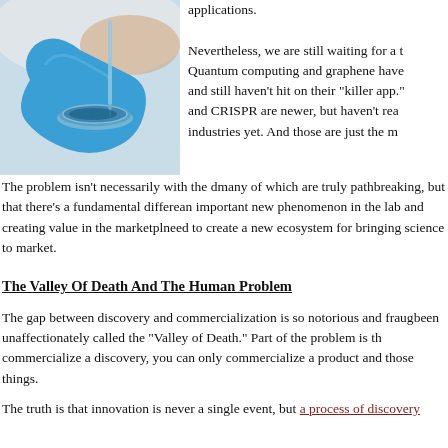[Figure (photo): A gloved hand (blue latex glove) holding a petri dish with a blue liquid/sample, with a pipette tip visible, against a light background. Laboratory setting.]
applications.

Nevertheless, we are still waiting for a... Quantum computing and graphene have... and still haven't hit on their "killer app."... and CRISPR are newer, but haven't rea... industries yet. And those are just the m...

The problem isn't necessarily with the d... many of which are truly pathbreaking, but that there's a fundamental differen... an important new phenomenon in the lab and creating value in the marketpla... need to create a new ecosystem for bringing science to market.
The Valley Of Death And The Human Problem
The gap between discovery and commercialization is so notorious and fraugh... been unaffectionately called the "Valley of Death." Part of the problem is tha... commercialize a discovery, you can only commercialize a product and those... things.
The truth is that innovation is never a single event, but a process of discovery...